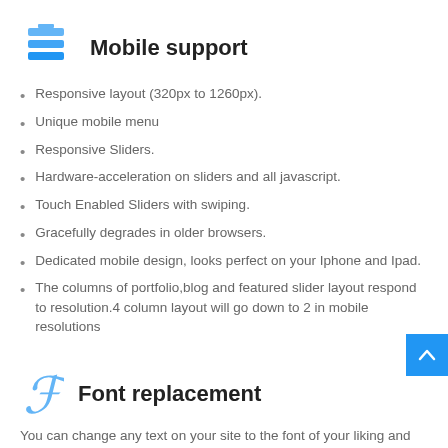Mobile support
Responsive layout (320px to 1260px).
Unique mobile menu
Responsive Sliders.
Hardware-acceleration on sliders and all javascript.
Touch Enabled Sliders with swiping.
Gracefully degrades in older browsers.
Dedicated mobile design, looks perfect on your Iphone and Ipad.
The columns of portfolio,blog and featured slider layout respond to resolution.4 column layout will go down to 2 in mobile resolutions
Font replacement
You can change any text on your site to the font of your liking and you can preview fonts in the admin panel
Google fonts support - 600+ fonts